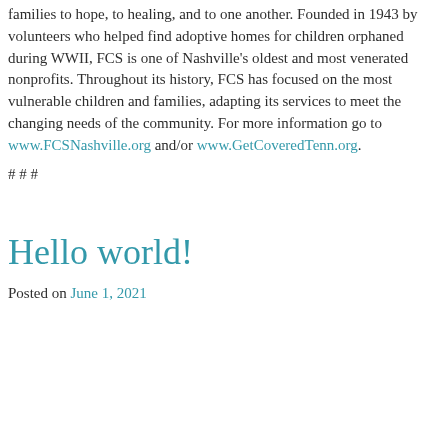families to hope, to healing, and to one another. Founded in 1943 by volunteers who helped find adoptive homes for children orphaned during WWII, FCS is one of Nashville's oldest and most venerated nonprofits. Throughout its history, FCS has focused on the most vulnerable children and families, adapting its services to meet the changing needs of the community. For more information go to www.FCSNashville.org and/or www.GetCoveredTenn.org.
# # #
Hello world!
Posted on June 1, 2021